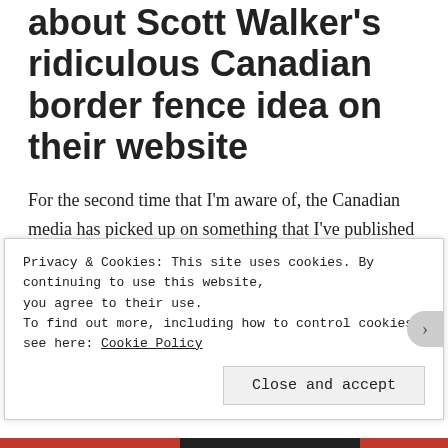about Scott Walker's ridiculous Canadian border fence idea on their website
For the second time that I'm aware of, the Canadian media has picked up on something that I've published online. This time, the Canadian Broadcasting Corporation (CBC), Canada's national public broadcaster, featured this tweet, which I made a couple of days ago, on their website:
https://twitter.com/AaronApolloCamp/status/638121254
Privacy & Cookies: This site uses cookies. By continuing to use this website, you agree to their use.
To find out more, including how to control cookies, see here: Cookie Policy
Close and accept